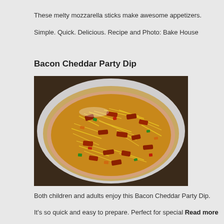These melty mozzarella sticks make awesome appetizers.
Simple. Quick. Delicious. Recipe and Photo: Bake House
Bacon Cheddar Party Dip
[Figure (photo): A bowl of Bacon Cheddar Party Dip topped with shredded cheddar cheese, crumbled bacon pieces, and diced colorful peppers (red, green, orange) served in a white ceramic bowl.]
Both children and adults enjoy this Bacon Cheddar Party Dip.
It's so quick and easy to prepare. Perfect for special Read more